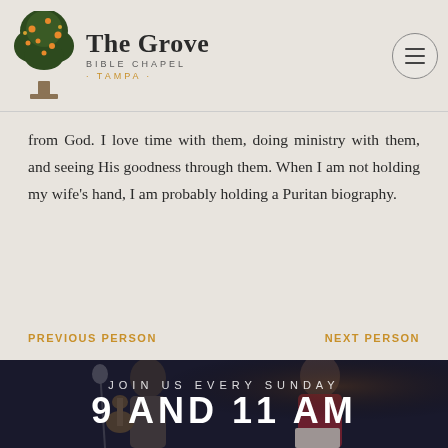[Figure (logo): The Grove Bible Chapel Tampa logo with tree illustration]
from God. I love time with them, doing ministry with them, and seeing His goodness through them. When I am not holding my wife's hand, I am probably holding a Puritan biography.
PREVIOUS PERSON
NEXT PERSON
[Figure (photo): Two men on stage, one playing guitar, one reading — church service photo with overlay text JOIN US EVERY SUNDAY 9 AND 11 AM]